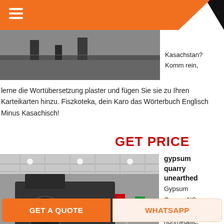r
[Figure (photo): Black and white photo of industrial machinery floor with equipment legs and gravel/aggregate]
Kasachstan?
Komm rein,
lerne die Wortübersetzung plaster und fügen Sie sie zu Ihren Karteikarten hinzu. Fiszkoteka, dein Karo das Wörterbuch Englisch Minus Kasachisch!
GET PRICE
[Figure (photo): Industrial crusher or mining machinery in a large exhibition hall with colorful flags in the background]
gypsum quarry unearthed
Gypsum
Quarry, NS
Gypsum is a nonmetallic,
GET A QUOTE
WHATSAPP